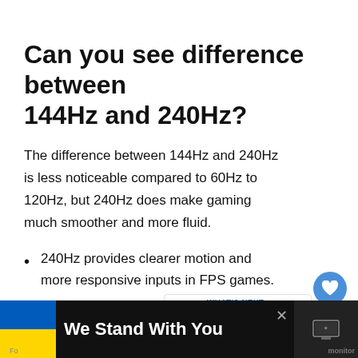Can you see difference between 144Hz and 240Hz?
The difference between 144Hz and 240Hz is less noticeable compared to 60Hz to 120Hz, but 240Hz does make gaming much smoother and more fluid.
240Hz provides clearer motion and more responsive inputs in FPS games.
240Hz has less motion blur.
144Hz monitors can have higher screen and better image quality.
[Figure (infographic): Bottom banner with Ukraine flag and text 'We Stand With You' on dark background, with close button and side panel showing monitor-related content. Also floating heart and share icons on right side.]